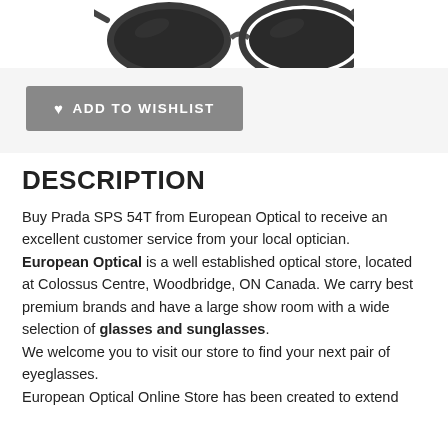[Figure (photo): Partial view of dark sunglasses (Prada SPS 54T) shown from above, cropped at top of page]
ADD TO WISHLIST
DESCRIPTION
Buy Prada SPS 54T from European Optical to receive an excellent customer service from your local optician. European Optical is a well established optical store, located at Colossus Centre, Woodbridge, ON Canada. We carry best premium brands and have a large show room with a wide selection of glasses and sunglasses. We welcome you to visit our store to find your next pair of eyeglasses. European Optical Online Store has been created to extend